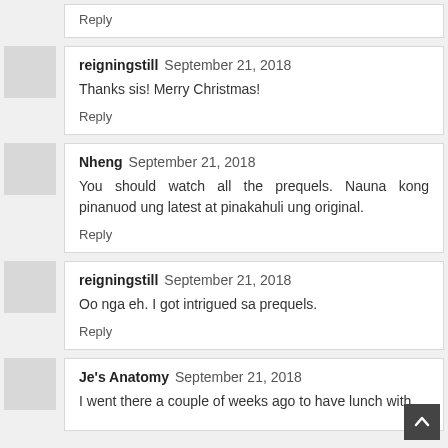Reply
reigningstill  September 21, 2018
Thanks sis! Merry Christmas!
Reply
Nheng  September 21, 2018
You should watch all the prequels. Nauna kong pinanuod ung latest at pinakahuli ung original.
Reply
reigningstill  September 21, 2018
Oo nga eh. I got intrigued sa prequels.
Reply
Je's Anatomy  September 21, 2018
I went there a couple of weeks ago to have lunch with